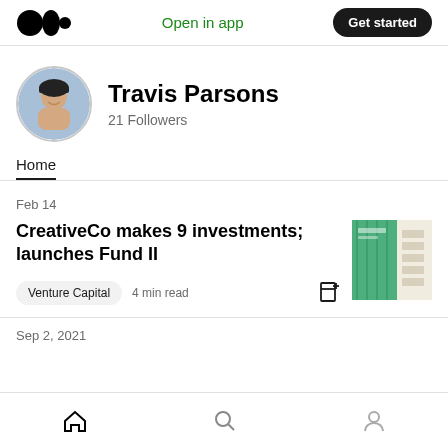Open in app | Get started
Travis Parsons
21 Followers
Home
Feb 14
CreativeCo makes 9 investments; launches Fund II
Venture Capital  4 min read
[Figure (photo): Thumbnail image for article about CreativeCo investments, green and beige tones]
Sep 2, 2021